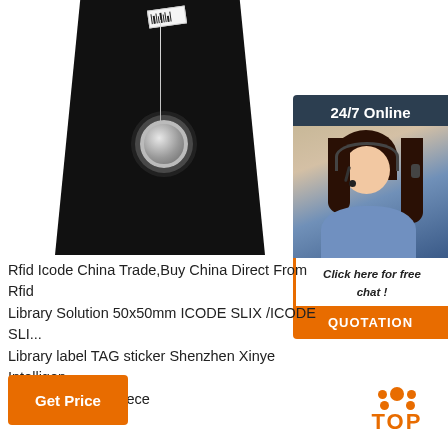[Figure (photo): Product photo of a necklace with a decorative pendant displayed on a black jewelry stand/bust. A barcode tag is visible at the top.]
[Figure (photo): 24/7 Online chat widget showing a female customer service agent with headset, a 'Click here for free chat!' prompt, and a QUOTATION button.]
Rfid Icode China Trade,Buy China Direct From Rfid Icode ... Library Solution 50x50mm ICODE SLIX /ICODE SLI... Library label TAG sticker Shenzhen Xinye Intelligence... US $0.08-$0.10 Piece
[Figure (other): Get Price orange button]
[Figure (other): TOP scroll-to-top button with orange dots forming an upward arrow and the word TOP in orange]